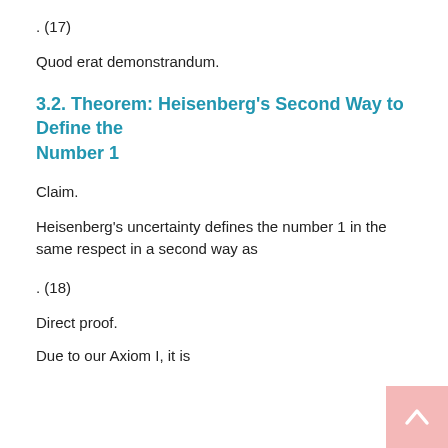Quod erat demonstrandum.
3.2. Theorem: Heisenberg's Second Way to Define the Number 1
Claim.
Heisenberg's uncertainty defines the number 1 in the same respect in a second way as
Direct proof.
Due to our Axiom I, it is